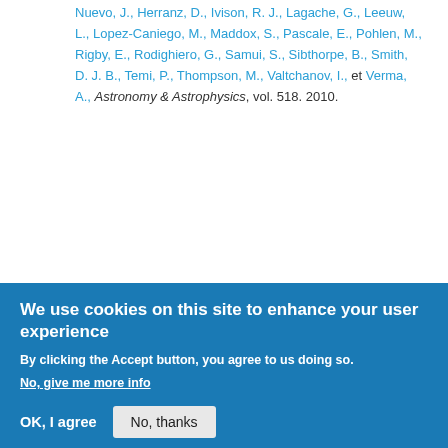Nuevo, J., Herranz, D., Ivison, R. J., Lagache, G., Leeuw, L., Lopez-Caniego, M., Maddox, S., Pascale, E., Pohlen, M., Rigby, E., Rodighiero, G., Samui, S., Sibthorpe, B., Smith, D. J. B., Temi, P., Thompson, M., Valtchanov, I., et Verma, A., Astronomy & Astrophysics, vol. 518. 2010.
J. Gonzalez-Nuevo, de Zotti, G., Andreani, P., Barton, E. J., Bertoldi, F., Birkinshaw, M., Bonavera, L., Buttiglione, S., Cooke, J., Cooray, A., Danese, G., Dunne, L., Eales, S., Fan, L., Jarvis, M. J., Klockner, H. R., Hatziminaoglou, E., Herranz, D., Hughes, D. H., Lapi, A.,
We use cookies on this site to enhance your user experience

By clicking the Accept button, you agree to us doing so.
No, give me more info

OK, I agree    No, thanks